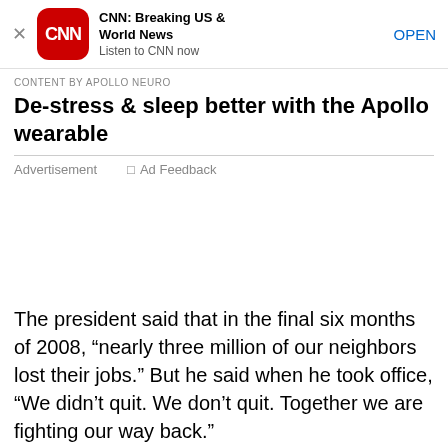[Figure (screenshot): CNN app banner with red rounded-square logo showing 'CNN' in white, app name 'CNN: Breaking US & World News', subtitle 'Listen to CNN now', and 'OPEN' link button]
CONTENT BY APOLLO NEURO
De-stress & sleep better with the Apollo wearable
Advertisement   □ Ad Feedback
The president said that in the final six months of 2008, “nearly three million of our neighbors lost their jobs.” But he said when he took office, “We didn’t quit. We don’t quit. Together we are fighting our way back.”